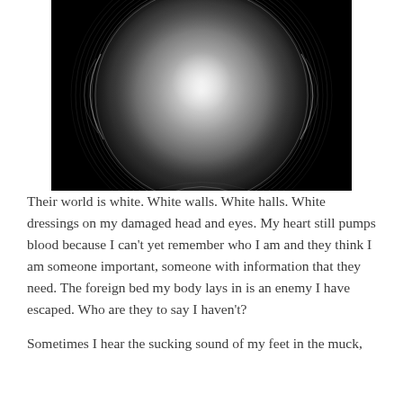[Figure (illustration): A dark, dramatic black-and-white image of a glowing spherical orb with concentric circular light reflections, set against a black background. The sphere has a bright central glow fading to darker edges, with white wispy lines creating a ripple effect around it.]
Their world is white. White walls. White halls. White dressings on my damaged head and eyes. My heart still pumps blood because I can't yet remember who I am and they think I am someone important, someone with information that they need. The foreign bed my body lays in is an enemy I have escaped. Who are they to say I haven't?
Sometimes I hear the sucking sound of my feet in the muck,